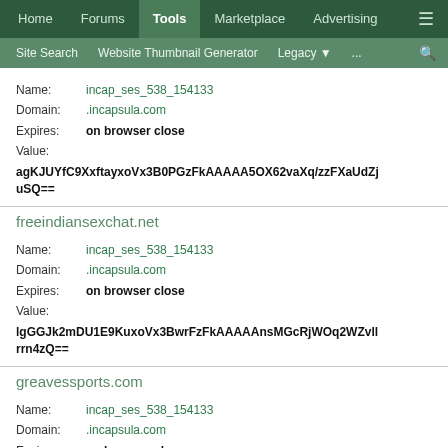Home | Forums | Tools | Marketplace | Advertising | ☰ | Site Search | Website Thumbnail Generator | Legacy | ... | 🔍
Name: incap_ses_538_154133
Domain: .incapsula.com
Expires: on browser close
Value: agKJUYfC9XxftayxoVx3B0PGzFkAAAAA5OX62vaXq/zzFXaUdZjuSQ==
freeindiansexchat.net
Name: incap_ses_538_154133
Domain: .incapsula.com
Expires: on browser close
Value: lgGGJk2mDU1E9KuxoVx3BwrFzFkAAAAAnsMGcRjWOq2WZvllrrn4zQ==
greavessports.com
Name: incap_ses_538_154133
Domain: .incapsula.com
Expires: on browser close
Value: a/6llcZqNEJCy6mxoVx3B57BzFkAAAAj2bhSICtLbO/6pXO36SpNQ==
brybeck.com
Name: incap_ses_538_154133